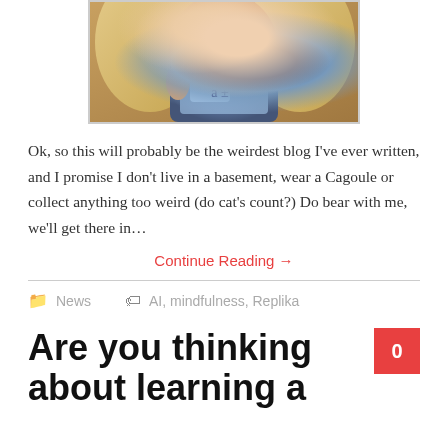[Figure (photo): A person holding a smartphone close to the camera, showing their face and the phone screen. Blond hair visible, warm toned background.]
Ok, so this will probably be the weirdest blog I've ever written, and I promise I don't live in a basement, wear a Cagoule or collect anything too weird (do cat's count?)  Do bear with me, we'll get there in…
Continue Reading →
News   AI, mindfulness, Replika
Are you thinking about learning a